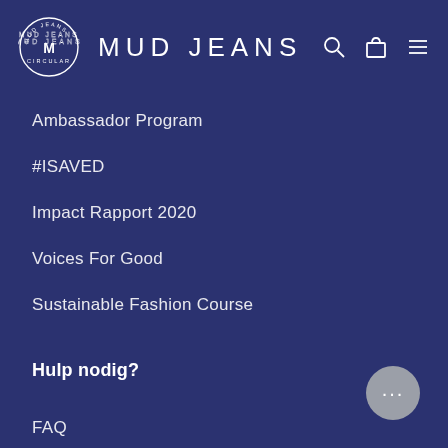MUD JEANS
Ambassador Program
#ISAVED
Impact Rapport 2020
Voices For Good
Sustainable Fashion Course
Hulp nodig?
FAQ
Retourneren